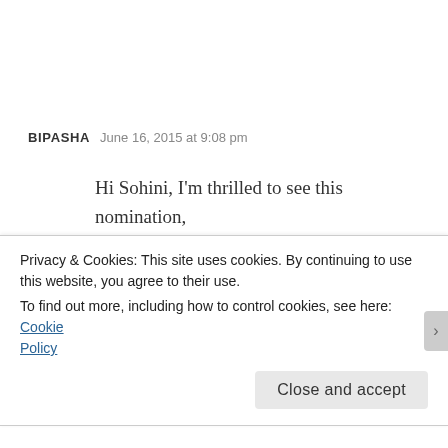BIPASHA   June 16, 2015 at 9:08 pm   REPLY
Hi Sohini, I'm thrilled to see this nomination, thanks a lot! Although I'll not be participating, I'm still very happy to know you think my blog is worth it 🙂
I enjoyed reading your post, you seem to be
Privacy & Cookies: This site uses cookies. By continuing to use this website, you agree to their use.
To find out more, including how to control cookies, see here: Cookie Policy
Close and accept